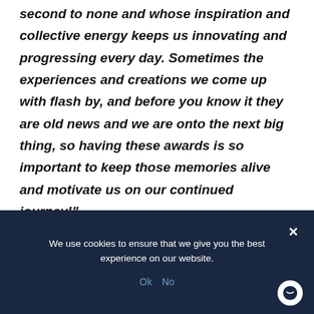second to none and whose inspiration and collective energy keeps us innovating and progressing every day. Sometimes the experiences and creations we come up with flash by, and before you know it they are old news and we are onto the next big thing, so having these awards is so important to keep those memories alive and motivate us on our continued journey!"
We use cookies to ensure that we give you the best experience on our website.
Ok   No